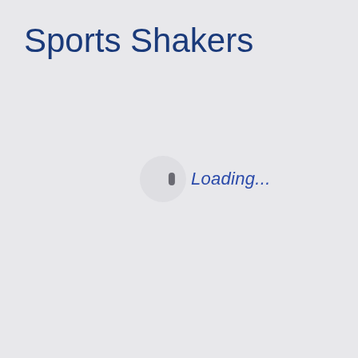Sports Shakers
[Figure (screenshot): Loading spinner — a circular spinner icon with a small dark dot near the right side, accompanied by italic blue text 'Loading...']